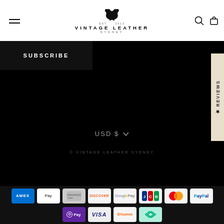Vintage Leather Sydney — navigation header with logo, menu icon, search and cart
SUBSCRIBE
USD $
© VINTAGE LEATHER SYDNEY
[Figure (logo): Reviews sidebar with star icon rotated vertically]
[Figure (infographic): Payment method icons: Amex, Apple Pay, generic card, Discover, Google Pay, JCB, Mastercard, PayPal, OPay, Visa, humm, Afterpay]